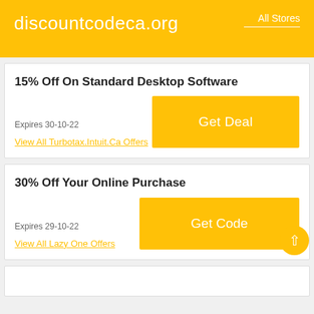discountcodeca.org   All Stores
15% Off On Standard Desktop Software
Expires 30-10-22
View All Turbotax.Intuit.Ca Offers
Get Deal
30% Off Your Online Purchase
Expires 29-10-22
View All Lazy One Offers
Get Code